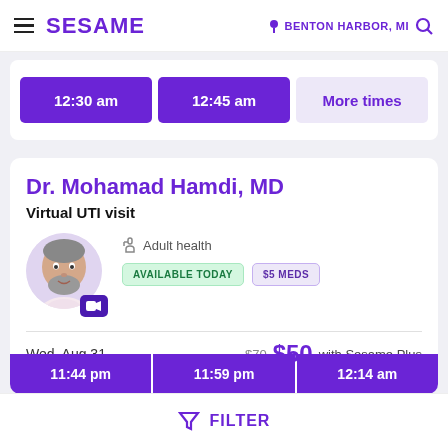SESAME | BENTON HARBOR, MI
12:30 am  12:45 am  More times
Dr. Mohamad Hamdi, MD
Virtual UTI visit
Adult health
AVAILABLE TODAY  $5 MEDS
Wed, Aug 31  $70  $50 with Sesame Plus
11:44 pm  11:59 pm  12:14 am
FILTER